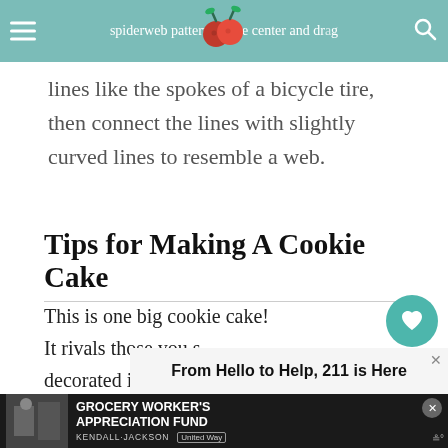spiderweb pattern. at the center and drag lines like the spokes of a bicycle tire, then connect the lines with slightly curved lines to resemble a web.
Tips for Making A Cookie Cake
This is one big cookie cake! It rivals those you see decorated in the grocery store bakery cases, but tastes a heck of a lot better. Here are some tips to help make a delicious cookie cake.
[Figure (other): Advertisement banner: 'From Hello to Help, 211 is Here' and 'GROCERY WORKER'S APPRECIATION FUND' with Kendall-Jackson and United Way logos]
[Figure (other): What's Next panel showing Spiderweb Cupcakes thumbnail with circular image]